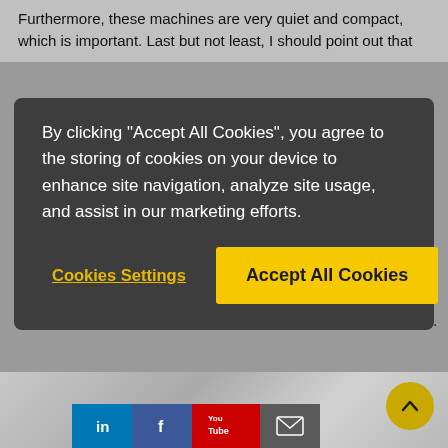Furthermore, these machines are very quiet and compact, which is important. Last but not least, I should point out that
By clicking “Accept All Cookies”, you agree to the storing of cookies on your device to enhance site navigation, analyze site usage, and assist in our marketing efforts.
Cookies Settings
Accept All Cookies
monitor all process data, even when we are outside the factory.
[Figure (photo): Industrial machines/equipment photo at bottom of page with social media icons overlay (LinkedIn, Facebook, YouTube, email) and a scroll-to-top circular button]